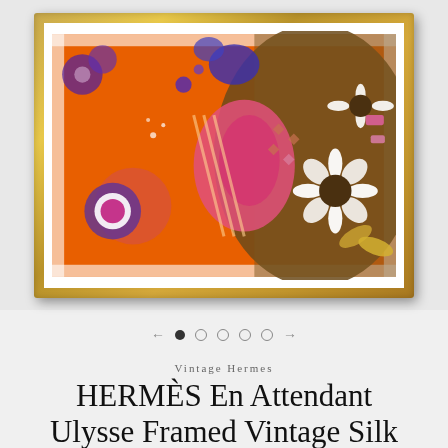[Figure (photo): A framed Hermès vintage silk scarf displayed in a gold ornate frame. The scarf features a vibrant design with orange background, purple/violet floral and paisley patterns, olive/brown tones with white daisy flowers, and pink accents.]
Vintage Hermes
HERMÈS En Attendant Ulysse Framed Vintage Silk Scarf 20"